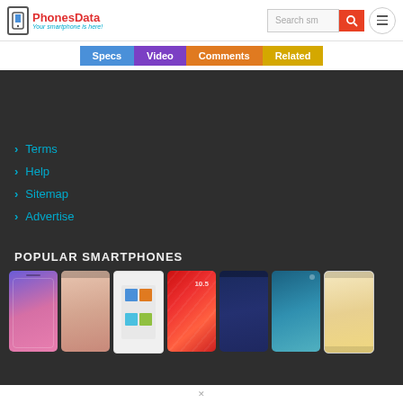PhonesData - Your smartphone is here!
Terms
Help
Sitemap
Advertise
POPULAR SMARTPHONES
[Figure (screenshot): Row of popular smartphone thumbnails including iPhone 11, Samsung Galaxy S-series, Xiaomi, Samsung Galaxy S10, and iPhone 8 Plus]